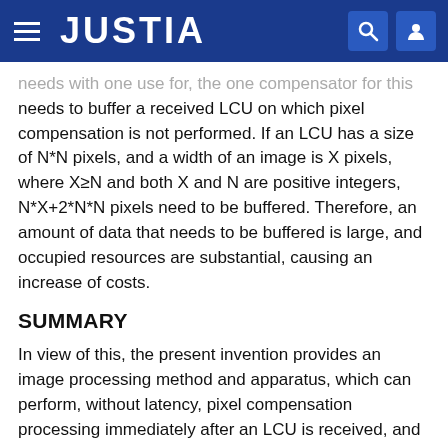JUSTIA
needs to buffer a received LCU on which pixel compensation is not performed. If an LCU has a size of N*N pixels, and a width of an image is X pixels, where X≥N and both X and N are positive integers, N*X+2*N*N pixels need to be buffered. Therefore, an amount of data that needs to be buffered is large, and occupied resources are substantial, causing an increase of costs.
SUMMARY
In view of this, the present invention provides an image processing method and apparatus, which can perform, without latency, pixel compensation processing immediately after an LCU is received, and can effectively reduce the amount of buffered data.
According to a first aspect, the present invention